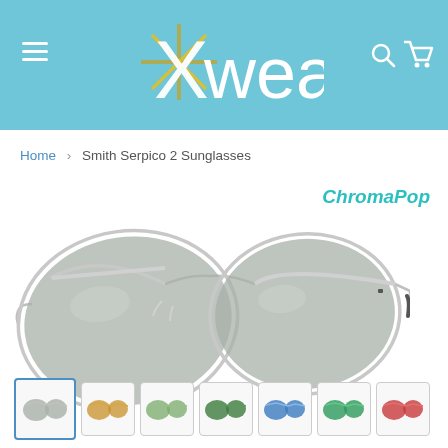Xwear
Home > Smith Serpico 2 Sunglasses
[Figure (photo): Smith Serpico 2 aviator sunglasses with silver frame and gray mirrored lenses, with ChromaPop branding label in teal italic text]
[Figure (photo): Row of thumbnail images showing Smith Serpico 2 sunglasses in various lens colors: silver/gray (selected), brown/gold, green, dark green, blue mirror, green mirror, red/orange]